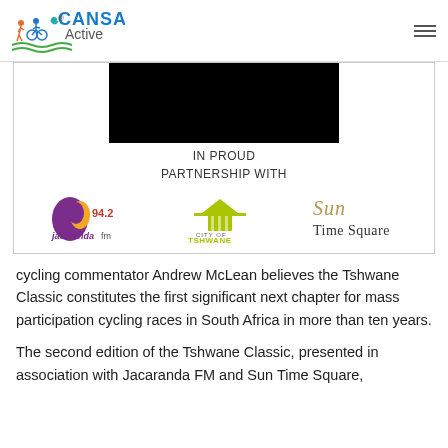CANSA Active
[Figure (illustration): Partnership box showing a black gear/sprocket shape at top, text 'IN PROUD PARTNERSHIP WITH', and three partner logos: Jacaranda FM 94.2, City of Tshwane, and Sun Time Square]
cycling commentator Andrew McLean believes the Tshwane Classic constitutes the first significant next chapter for mass participation cycling races in South Africa in more than ten years.
The second edition of the Tshwane Classic, presented in association with Jacaranda FM and Sun Time Square,